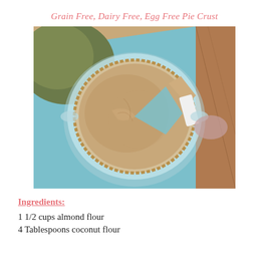Grain Free, Dairy Free, Egg Free Pie Crust
[Figure (photo): Overhead view of a grain-free, dairy-free, egg-free pie crust in a glass pie dish on a blue cloth, with one slice being lifted out]
Ingredients:
1 1/2 cups almond flour
4 Tablespoons coconut flour